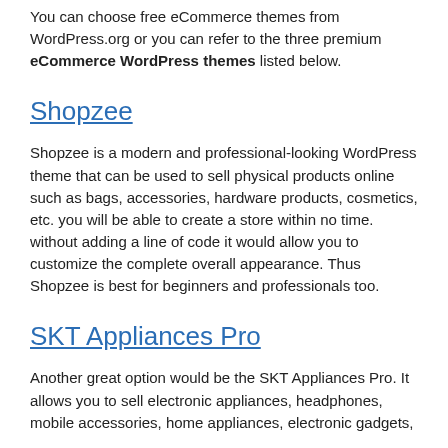You can choose free eCommerce themes from WordPress.org or you can refer to the three premium eCommerce WordPress themes listed below.
Shopzee
Shopzee is a modern and professional-looking WordPress theme that can be used to sell physical products online such as bags, accessories, hardware products, cosmetics, etc. you will be able to create a store within no time. without adding a line of code it would allow you to customize the complete overall appearance. Thus Shopzee is best for beginners and professionals too.
SKT Appliances Pro
Another great option would be the SKT Appliances Pro. It allows you to sell electronic appliances, headphones, mobile accessories, home appliances, electronic gadgets,